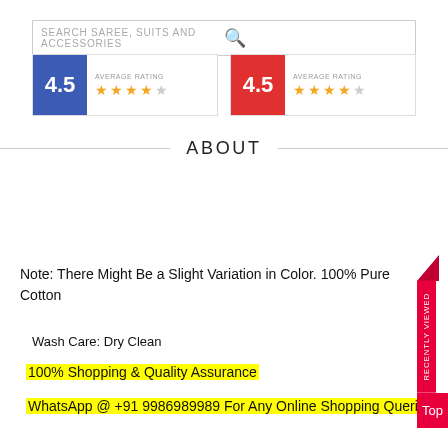[Figure (screenshot): Search bar with placeholder text SEARCH SAREE, SUITS AND ACCESSORIES and a search icon]
[Figure (infographic): Two rating cards side by side. Left card: blue box with 4.5 rating, AVERAGE RATING label, 4 filled stars and 1 half star. Right card: red box with 4.5 rating, AVERAGE RATING label, 4 filled stars and 1 half star.]
ABOUT
Note: There Might Be a Slight Variation in Color. 100% Pure Cotton
Wash Care: Dry Clean
100% Shopping & Quality Assurance
WhatsApp @ +91 9986989989 For Any Online Shopping Queries